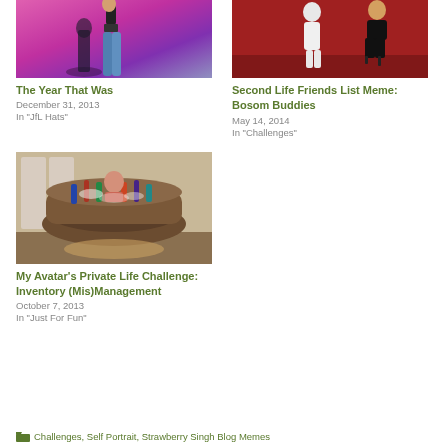[Figure (photo): Two female avatars with pink/purple background, wearing jeans and tops]
[Figure (photo): Two female avatars in white and black outfits against a red background]
The Year That Was
December 31, 2013
In "JfL Hats"
Second Life Friends List Meme: Bosom Buddies
May 14, 2014
In "Challenges"
[Figure (photo): Avatar in a large bathtub filled with bottles and items]
My Avatar’s Private Life Challenge: Inventory (Mis)Management
October 7, 2013
In "Just For Fun"
Challenges, Self Portrait, Strawberry Singh Blog Memes